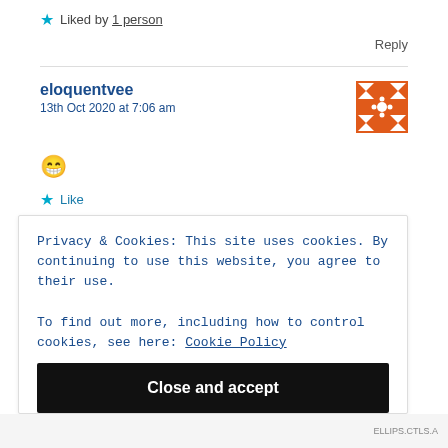★ Liked by 1 person
Reply
eloquentvee
13th Oct 2020 at 7:06 am
[Figure (illustration): Decorative avatar/identicon: orange and white geometric pattern on orange background]
😁
★ Like
Privacy & Cookies: This site uses cookies. By continuing to use this website, you agree to their use.
To find out more, including how to control cookies, see here: Cookie Policy
Close and accept